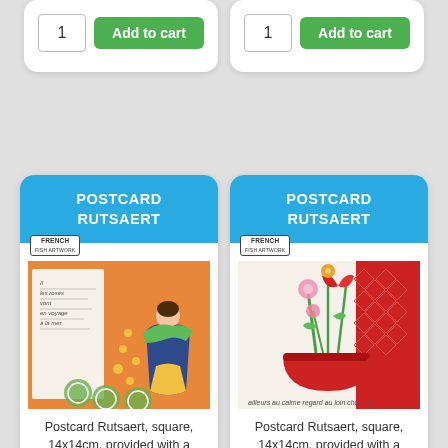[Figure (screenshot): Top partial area showing two product cards with quantity inputs and Add to cart buttons (partial view, cropped at top)]
[Figure (illustration): Product card for Postcard Rutsaert with blue header, French badge, and illustration of a woman walking in wind on orange background]
Postcard Rutsaert, square, 14x14cm, provided with a square envelope
[Figure (illustration): Product card for Postcard Rutsaert with blue header, French badge, and illustration of flowers in a red teacup on red background]
Postcard Rutsaert, square, 14x14cm, provided with a square envelope